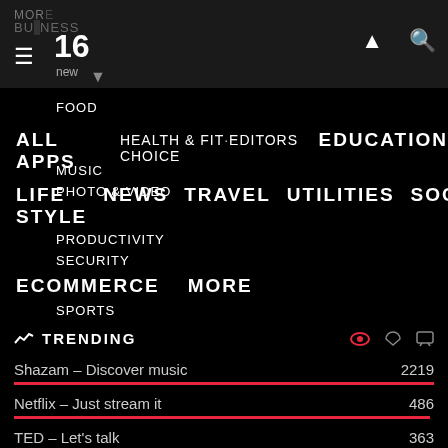MORE BUSINESS 16 new
FOOD
ALL APPS   HEALTH & FITNESS   EDITORS CHOICE   EDUCATION
MUSIC
PHOTO & VIDEO
LIFE STYLE   NEWS   TRAVEL   UTILITIES   SOCIAL
PRODUCTIVITY
SECURITY
ECOMMERCE   MORE
SPORTS
TRENDING
Shazam – Discover music   2219
Netflix – Just stream it   486
TED – Let's talk   363
TuneIn Radio – Record your radio   286